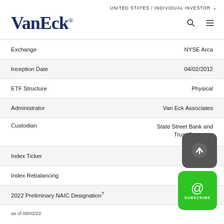UNITED STATES / INDIVIDUAL INVESTOR
[Figure (logo): VanEck logo in dark blue serif font]
| Field | Value |
| --- | --- |
| Exchange | NYSE Arca |
| Inception Date | 04/02/2012 |
| ETF Structure | Physical |
| Administrator | Van Eck Associates |
| Custodian | State Street Bank and Trust Company |
| Index Ticker | HXUS |
| Index Rebalancing | Monthly |
| 2022 Preliminary NAIC Designation7 | 1A |
as of 09/02/22